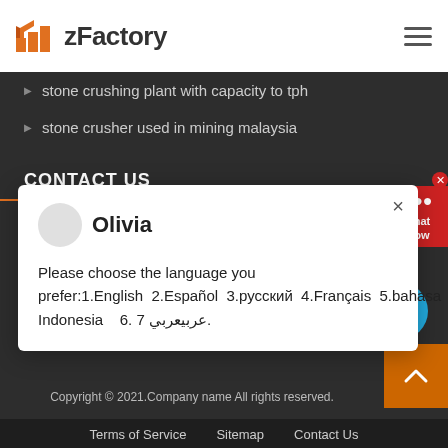zFactory
stone crushing plant with capacity to tph
stone crusher used in mining malaysia
CONTACT US
Olivia
Please choose the language you prefer:1.English  2.Español  3.русский  4.Français  5.bahasa Indonesia   6. 7 عربيعربي.
+86 15516432285
adiaryounger@gmail.com
Copyright © 2021.Company name All rights reserved.
Terms of Service    Sitemap    Contact Us